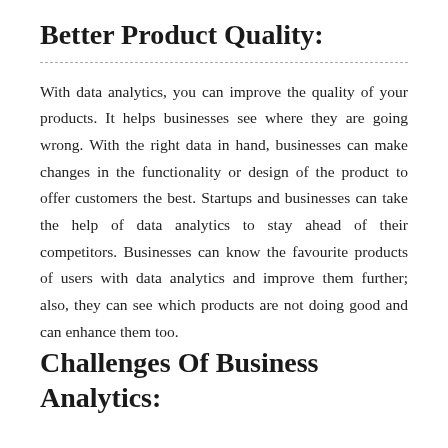Better Product Quality:
With data analytics, you can improve the quality of your products. It helps businesses see where they are going wrong. With the right data in hand, businesses can make changes in the functionality or design of the product to offer customers the best. Startups and businesses can take the help of data analytics to stay ahead of their competitors. Businesses can know the favourite products of users with data analytics and improve them further; also, they can see which products are not doing good and can enhance them too.
Challenges Of Business Analytics: